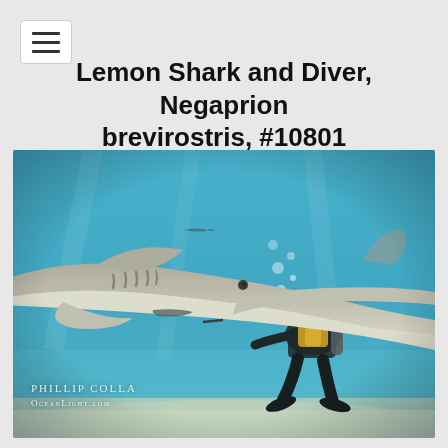☰ (menu icon)
Lemon Shark and Diver, Negaprion brevirostris, #10801
[Figure (photo): Underwater photograph of a large lemon shark (Negaprion brevirostris) close-up, facing right, with a scuba diver in black wetsuit and yellow gear kneeling on the sandy ocean floor in the background. Bubbles rise from the diver. A remora fish is visible on the shark's underside. The water is blue and clear. Watermark reads 'Phillip Colla / OceanLight.com'.]